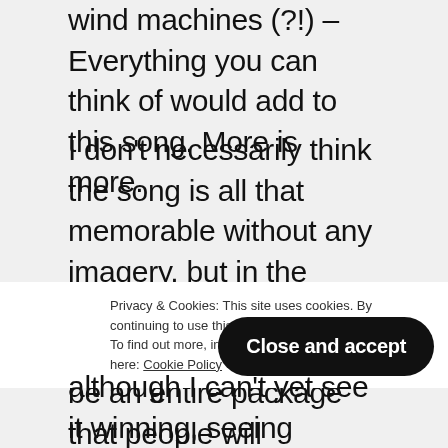wind machines (?!) – Everything you can think of would add to this song. More is more.
I don't necessarily think the song is all that memorable without any imagery, but in the context of a live performance, this will be an entire package that people will remember, not just for the song. The visuals will certainly elevate this song to the point where being high in the odds is justified.
Privacy & Cookies: This site uses cookies. By continuing to use this website, you agree to their use. To find out more, including how to control cookies, see here: Cookie Policy
although I can't yet see it winning, seeing